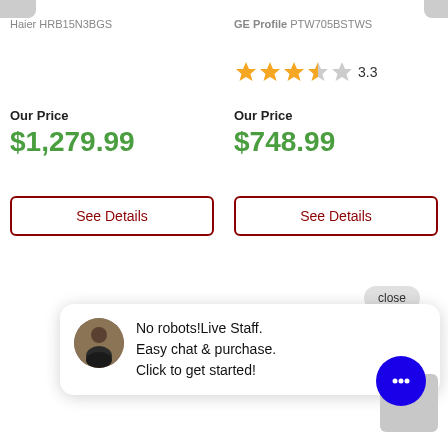Haier HRB15N3BGS
GE Profile PTW705BSTWS
3.3 stars rating
Our Price
$1,279.99
Our Price
$748.99
See Details
See Details
close
No robots!Live Staff.
Easy chat & purchase.
Click to get started!
CONTACT US
Click Here!